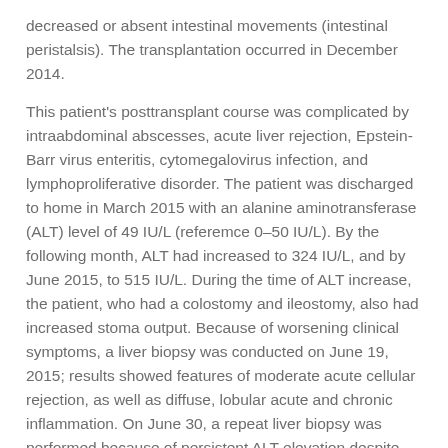decreased or absent intestinal movements (intestinal peristalsis). The transplantation occurred in December 2014.
This patient's posttransplant course was complicated by intraabdominal abscesses, acute liver rejection, Epstein-Barr virus enteritis, cytomegalovirus infection, and lymphoproliferative disorder. The patient was discharged to home in March 2015 with an alanine aminotransferase (ALT) level of 49 IU/L (referemce 0–50 IU/L). By the following month, ALT had increased to 324 IU/L, and by June 2015, to 515 IU/L. During the time of ALT increase, the patient, who had a colostomy and ileostomy, also had increased stoma output. Because of worsening clinical symptoms, a liver biopsy was conducted on June 19, 2015; results showed features of moderate acute cellular rejection, as well as diffuse, lobular acute and chronic inflammation. On June 30, a repeat liver biopsy was performed because of persistent ALT elevation despite increased treatment for rejection.
The multi–visceral organ recipient had received 2 doses of hepatitis